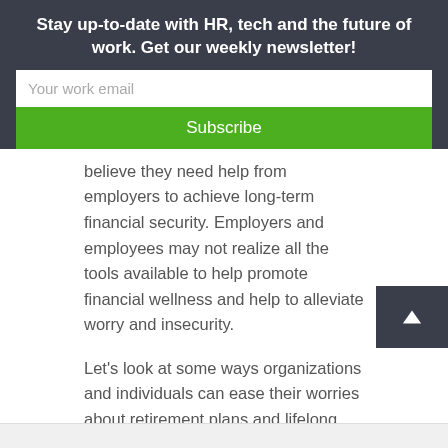Stay up-to-date with HR, tech and the future of work. Get our weekly newsletter!
Your work email
Subscribe
believe they need help from employers to achieve long-term financial security. Employers and employees may not realize all the tools available to help promote financial wellness and help to alleviate worry and insecurity.
Let's look at some ways organizations and individuals can ease their worries about retirement plans and lifelong financial health.
Are you ready to help your employees thrive?